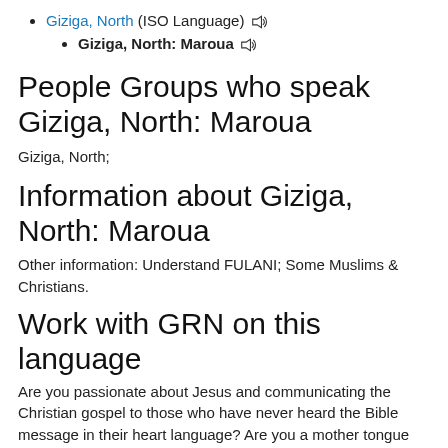Giziga, North (ISO Language) 🔊
Giziga, North: Maroua 🔊
People Groups who speak Giziga, North: Maroua
Giziga, North;
Information about Giziga, North: Maroua
Other information: Understand FULANI; Some Muslims & Christians.
Work with GRN on this language
Are you passionate about Jesus and communicating the Christian gospel to those who have never heard the Bible message in their heart language? Are you a mother tongue speaker of this language or do you know someone who is?